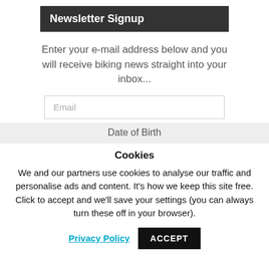Newsletter Signup
Enter your e-mail address below and you will receive biking news straight into your inbox...
Email
Date of Birth
Cookies
We and our partners use cookies to analyse our traffic and personalise ads and content. It's how we keep this site free. Click to accept and we'll save your settings (you can always turn these off in your browser).
Privacy Policy
ACCEPT